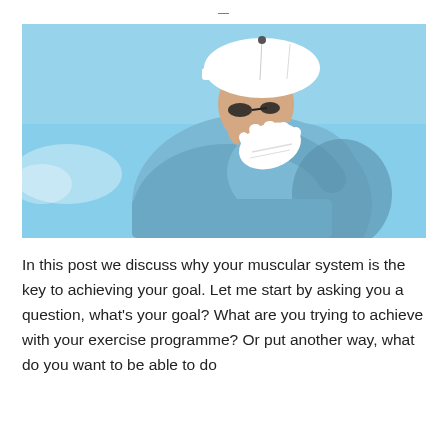—
[Figure (photo): A man wearing a white cap and light blue polo shirt, holding his shoulder/upper back with a white golf glove, against a light blue sky background. The image suggests shoulder pain or discomfort after physical activity.]
In this post we discuss why your muscular system is the key to achieving your goal. Let me start by asking you a question, what's your goal? What are you trying to achieve with your exercise programme? Or put another way, what do you want to be able to do